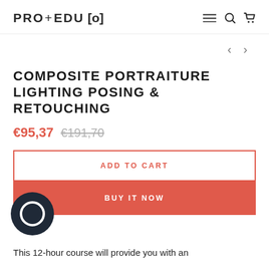PRO+EDU[o]
COMPOSITE PORTRAITURE LIGHTING POSING & RETOUCHING
€95,37  €191,70
ADD TO CART
BUY IT NOW
This 12-hour course will provide you with an